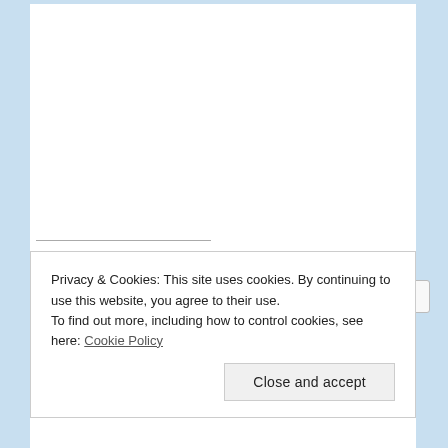Share this:
Email | Facebook | Reddit | Twitter | Tumblr | Pinterest | More
Privacy & Cookies: This site uses cookies. By continuing to use this website, you agree to their use.
To find out more, including how to control cookies, see here: Cookie Policy
Close and accept